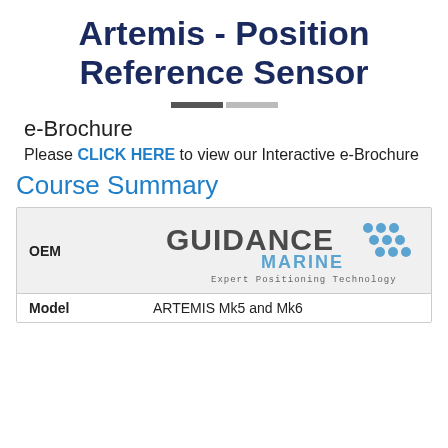Artemis - Position Reference Sensor
e-Brochure
Please CLICK HERE to view our Interactive e-Brochure
Course Summary
| OEM |  |
| --- | --- |
|  | GUIDANCE MARINE - Expert Positioning Technology |
| Model | ARTEMIS Mk5 and Mk6 |